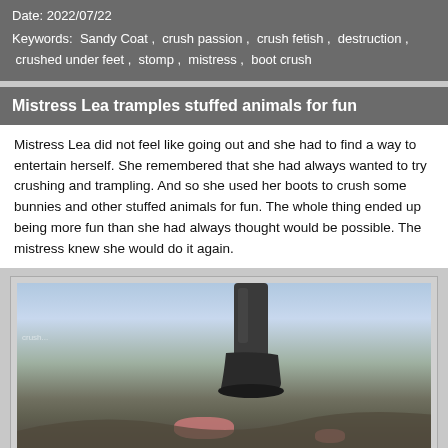Date: 2022/07/22
Keywords:  Sandy Coat ,  crush passion ,  crush fetish ,  destruction ,  crushed under feet ,  stomp ,  mistress ,  boot crush
Mistress Lea tramples stuffed animals for fun
Mistress Lea did not feel like going out and she had to find a way to entertain herself. She remembered that she had always wanted to try crushing and trampling. And so she used her boots to crush some bunnies and other stuffed animals for fun. The whole thing ended up being more fun than she had always thought would be possible. The mistress knew she would do it again.
[Figure (photo): Outdoor scene showing a boot crushing a pink stuffed animal on rocky ground, with hilly landscape and cloudy sky in background.]